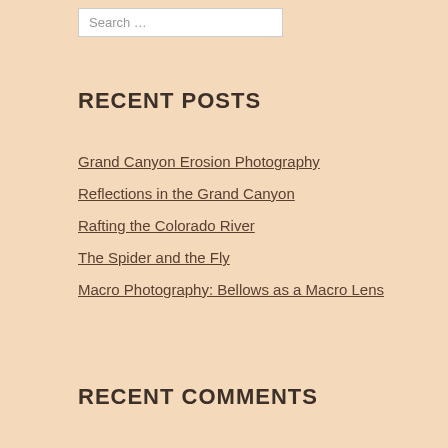Search …
RECENT POSTS
Grand Canyon Erosion Photography
Reflections in the Grand Canyon
Rafting the Colorado River
The Spider and the Fly
Macro Photography: Bellows as a Macro Lens
RECENT COMMENTS